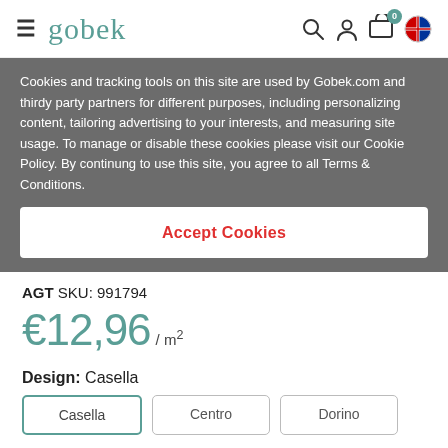gobek — navigation bar with hamburger menu, logo, search, account, cart (0), language (UK flag)
Cookies and tracking tools on this site are used by Gobek.com and thirdy party partners for different purposes, including personalizing content, tailoring advertising to your interests, and measuring site usage. To manage or disable these cookies please visit our Cookie Policy. By continung to use this site, you agree to all Terms & Conditions.
Accept Cookies
AGT SKU: 991794
€12,96 / m²
Design: Casella
Casella
Centro
Dorino